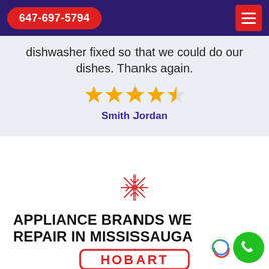647-697-5794
dishwasher fixed so that we could do our dishes. Thanks again.
[Figure (other): 4.5 star rating shown with gold stars]
Smith Jordan
[Figure (other): Red snowflake decorative icon]
APPLIANCE BRANDS WE REPAIR IN MISSISSAUGA
[Figure (logo): Hobart brand logo partially visible at bottom]
[Figure (other): Green phone call FAB button bottom right]